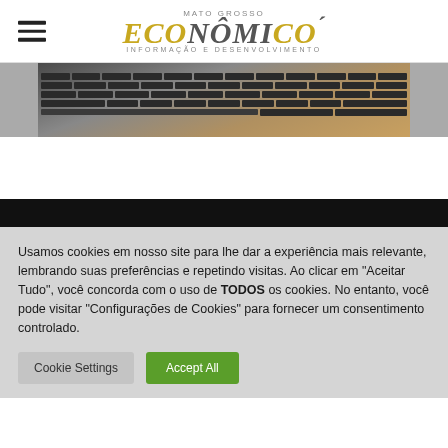Mato Grosso Econômico - Informação e Desenvolvimento
[Figure (photo): Partial view of a laptop keyboard on a wooden desk surface]
Usamos cookies em nosso site para lhe dar a experiência mais relevante, lembrando suas preferências e repetindo visitas. Ao clicar em "Aceitar Tudo", você concorda com o uso de TODOS os cookies. No entanto, você pode visitar "Configurações de Cookies" para fornecer um consentimento controlado.
Cookie Settings | Accept All